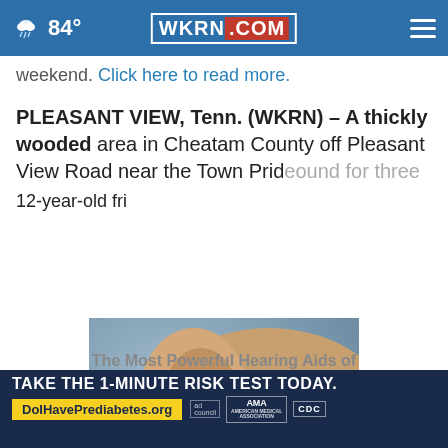84° WKRN.COM
weekend. Click here to read more.
PLEASANT VIEW, Tenn. (WKRN) – A thickly wooded area in Cheatam County off Pleasant View Road near the Town Pride... ound for three 12-year-old fri...
CONTINUE READING
[Figure (photo): Close-up photo of a person's ear with a hearing aid device inserted, showing skin tones and the hearing aid detail. An X close button visible at bottom right.]
The Most Powerful Hearing Aids of
[Figure (infographic): Advertisement banner: TAKE THE 1-MINUTE RISK TEST TODAY. DolHavePrediabetes.org with ad council, AMA, and CDC logos.]